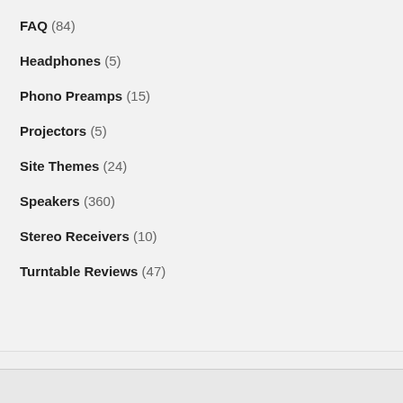FAQ (84)
Headphones (5)
Phono Preamps (15)
Projectors (5)
Site Themes (24)
Speakers (360)
Stereo Receivers (10)
Turntable Reviews (47)
[Figure (logo): Ezoic logo with green circular icon and bold 'ezoic' wordmark]
report this ad